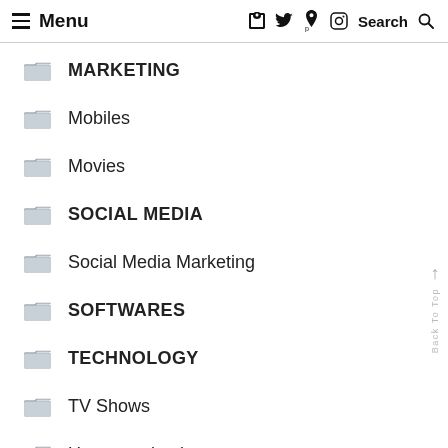≡ Menu   f  𝕥  𝕡  🅘  Search 🔍
MARKETING
Mobiles
Movies
SOCIAL MEDIA
Social Media Marketing
SOFTWARES
TECHNOLOGY
TV Shows
Uncategorized